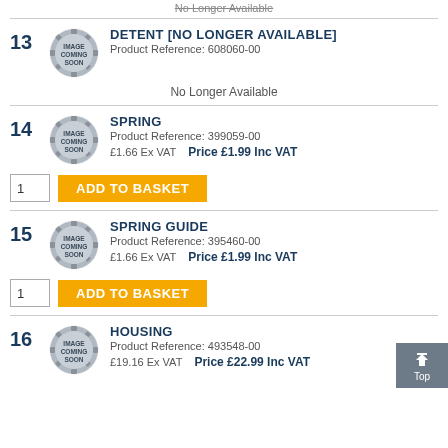No Longer Available
13  DETENT [NO LONGER AVAILABLE]  Product Reference: 608060-00
No Longer Available
14  SPRING  Product Reference: 399059-00  £1.66 Ex VAT  Price £1.99 Inc VAT
ADD TO BASKET
15  SPRING GUIDE  Product Reference: 395460-00  £1.66 Ex VAT  Price £1.99 Inc VAT
ADD TO BASKET
16  HOUSING  Product Reference: 493548-00  £19.16 Ex VAT  Price £22.99 Inc VAT